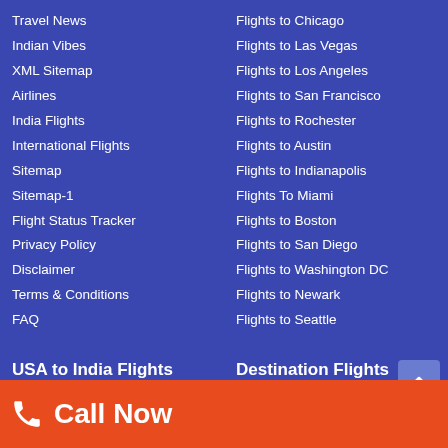Travel News
Indian Vibes
XML Sitemap
Airlines
India Flights
International Flights
Sitemap
Sitemap-1
Flight Status Tracker
Privacy Policy
Disclaimer
Terms & Conditions
FAQ
Flights to Chicago
Flights to Las Vegas
Flights to Los Angeles
Flights to San Francisco
Flights to Rochester
Flights to Austin
Flights to Indianapolis
Flights To Miami
Flights to Boston
Flights to San Diego
Flights to Washington DC
Flights to Newark
Flights to Seattle
USA to India Flights
Destination Flights
USA to Delhi Flights
USA to Mumbai Flights
Atlanta to Hyderabad Flights
Atlanta To Mumbai Flights
Call Now